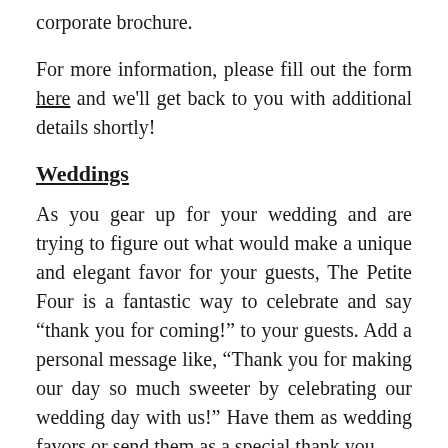corporate brochure.
For more information, please fill out the form here and we'll get back to you with additional details shortly!
Weddings
As you gear up for your wedding and are trying to figure out what would make a unique and elegant favor for your guests, The Petite Four is a fantastic way to celebrate and say “thank you for coming!” to your guests. Add a personal message like, “Thank you for making our day so much sweeter by celebrating our wedding day with us!” Have them as wedding favors or send them as a special thank you.
For more information, please fill out the form at the bottom of this page and we'll get back to you with additional details shortly!